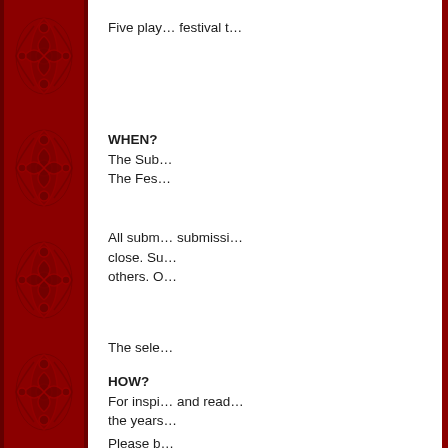[Figure (illustration): Red decorative floral/damask ornament border pattern on the left side of the page]
Five play… festival t…
WHEN?
The Sub…
The Fes…
All subm… submissi… close. Su… others. O…
The sele…
HOW?
For inspi… and read… the years…
Please b…